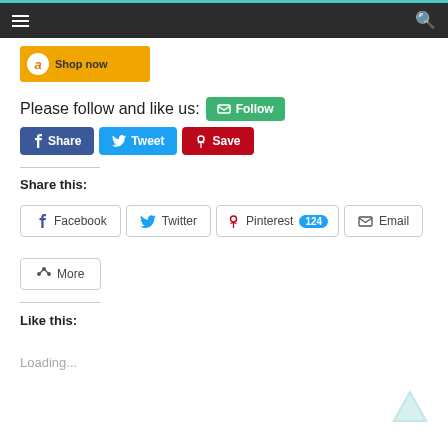[Figure (screenshot): Navigation bar with hamburger menu icon on left and search icon on right, dark background with teal top border]
[Figure (screenshot): Amazon banner ad with 'Shop now' text on yellow background]
Please follow and like us: Follow
[Figure (screenshot): Social media buttons: Facebook Share, Twitter Tweet, Pinterest Save]
Share this:
[Figure (screenshot): Share buttons: Facebook, Twitter, Pinterest 124, Email, More]
Like this:
Loading...